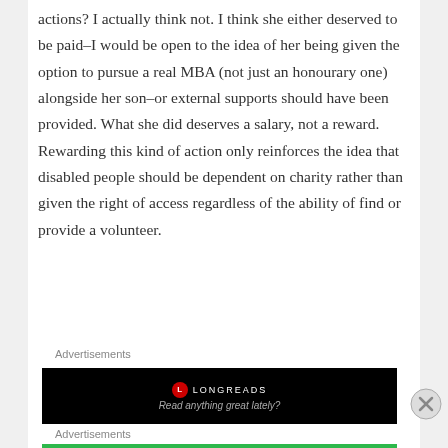actions? I actually think not. I think she either deserved to be paid–I would be open to the idea of her being given the option to pursue a real MBA (not just an honourary one) alongside her son–or external supports should have been provided. What she did deserves a salary, not a reward. Rewarding this kind of action only reinforces the idea that disabled people should be dependent on charity rather than given the right of access regardless of the ability of find or provide a volunteer.
Advertisements
[Figure (other): Longreads advertisement banner: black background with Longreads logo (red circle with L) and tagline 'Read anything great lately?']
Advertisements
[Figure (other): Jetpack advertisement banner: green background with Jetpack logo and 'Secure Your Site' button]